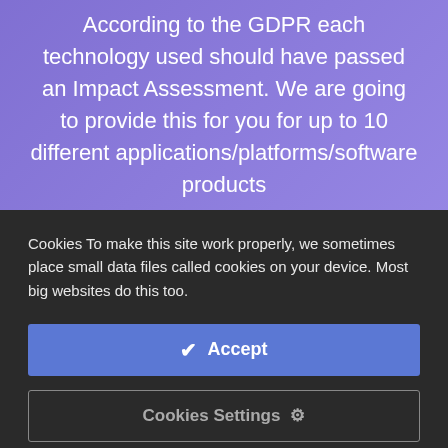According to the GDPR each technology used should have passed an Impact Assessment. We are going to provide this for you for up to 10 different applications/platforms/software products
Cookies To make this site work properly, we sometimes place small data files called cookies on your device. Most big websites do this too.
✔ Accept
Cookies Settings ⚙